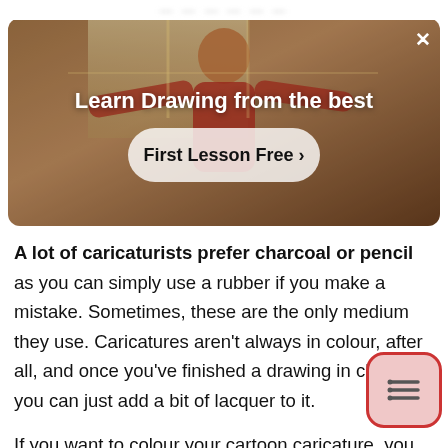[Figure (screenshot): Banner advertisement with dark warm-toned background photo of a person in a red top with arms extended, overlaid with text 'Learn Drawing from the best' and a button 'First Lesson Free >' plus an X close button.]
A lot of caricaturists prefer charcoal or pencil as you can simply use a rubber if you make a mistake. Sometimes, these are the only medium they use. Caricatures aren't always in colour, after all, and once you've finished a drawing in charcoal, you can just add a bit of lacquer to it.
If you want to colour your cartoon caricature, you